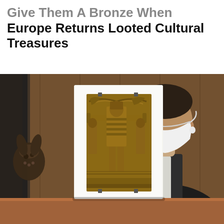Give Them A Bronze When Europe Returns Looted Cultural Treasures
[Figure (photo): A person wearing a white face mask and dark suit stands behind a podium. In the foreground, a Benin Bronze plaque relief is displayed on a white stand, with another dark bronze sculpture visible to the left. The background shows a wooden paneled wall.]